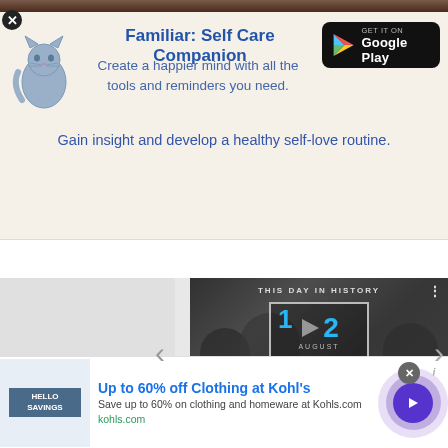[Figure (screenshot): Top brown/dark image bar (partially visible at top)]
[Figure (infographic): Advertisement for Familiar: Self Care Companion app. Shows a cat illustration, title 'Familiar: Self Care Companion', tagline 'Create a happier mind with all the tools and reminders you need.', 'Gain insight and develop a healthy self-love routine.', and a Google Play badge.]
[Figure (screenshot): Video player thumbnail showing 'THIS DAY IN HISTORY' with the date 12 AUGUST, with play button, mute icon, progress bar/timeline, and fullscreen icon. Black and white photo of people in background.]
[Figure (infographic): Advertisement banner for Kohl's: 'Up to 60% off Clothing at Kohl's', 'Save up to 60% on clothing and homeware at Kohls.com', 'kohls.com'. Includes a small product image on left and a purple circle button with arrow on right.]